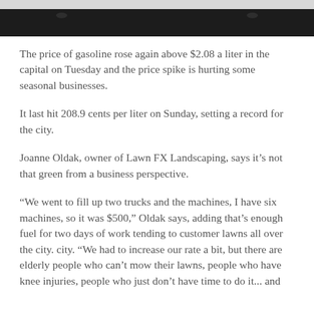[Figure (photo): Top portion of a photo, showing a dark bar (likely a vehicle or gas station related image), partially cropped.]
The price of gasoline rose again above $2.08 a liter in the capital on Tuesday and the price spike is hurting some seasonal businesses.
It last hit 208.9 cents per liter on Sunday, setting a record for the city.
Joanne Oldak, owner of Lawn FX Landscaping, says it’s not that green from a business perspective.
“We went to fill up two trucks and the machines, I have six machines, so it was $500,” Oldak says, adding that’s enough fuel for two days of work tending to customer lawns all over the city. city. “We had to increase our rate a bit, but there are elderly people who can’t mow their lawns, people who have knee injuries, people who just don’t have time to do it... and